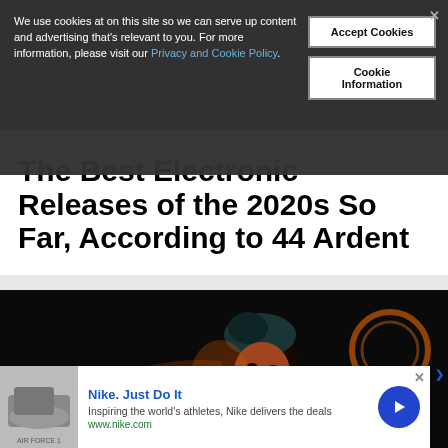We use cookies at on this site so we can serve up content and advertising that's relevant to you. For more information, please visit our Privacy and Cookie Policy.
The Best Electronic Releases of the 2020s So Far, According to 44 Ardent
[Figure (photo): A young DJ or performer with orange-lit hair performing on stage in a dark venue, smiling, with orange circular light fixtures in the background.]
Nike. Just Do It
Inspiring the world's athletes, Nike delivers the deals
www.nike.com